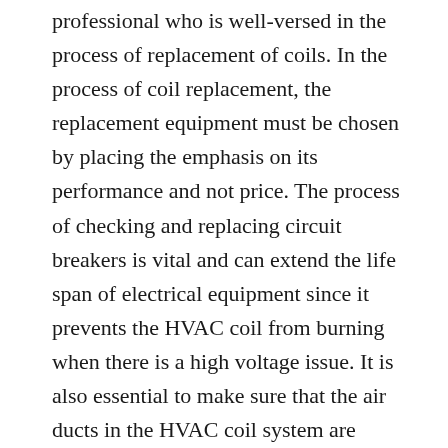professional who is well-versed in the process of replacement of coils. In the process of coil replacement, the replacement equipment must be chosen by placing the emphasis on its performance and not price. The process of checking and replacing circuit breakers is vital and can extend the life span of electrical equipment since it prevents the HVAC coil from burning when there is a high voltage issue. It is also essential to make sure that the air ducts in the HVAC coil system are adequate in size to function in conjunction with the new unit after replacing the HVAC coil which can reduce the energy efficiency of the system.
Southern Comfort Coil, LLC offers Coil Replacement in Florida with highly skilled professionals.